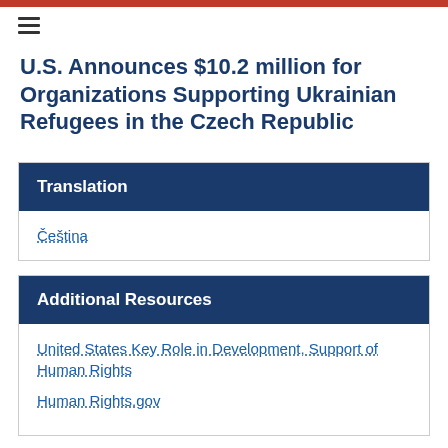U.S. Announces $10.2 million for Organizations Supporting Ukrainian Refugees in the Czech Republic
Translation
Čeština
Additional Resources
United States Key Role in Development, Support of Human Rights
Human Rights.gov